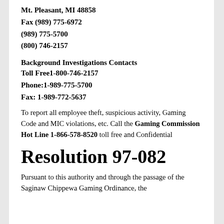Mt. Pleasant, MI 48858
Fax (989) 775-6972
(989) 775-5700
(800) 746-2157
Background Investigations Contacts
Toll Free1-800-746-2157
Phone:1-989-775-5700
Fax: 1-989-772-5637
To report all employee theft, suspicious activity, Gaming Code and MIC violations, etc. Call the Gaming Commission Hot Line 1-866-578-8520 toll free and Confidential
Resolution 97-082
Pursuant to this authority and through the passage of the Saginaw Chippewa Gaming Ordinance, the